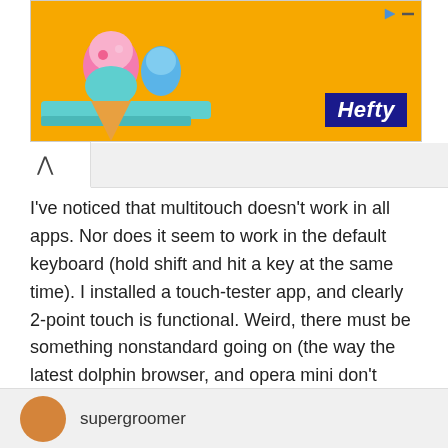[Figure (illustration): Hefty brand advertisement banner with orange background, cartoon ice cream/candy characters on left, and Hefty logo in navy blue on bottom right]
I've noticed that multitouch doesn't work in all apps. Nor does it seem to work in the default keyboard (hold shift and hit a key at the same time). I installed a touch-tester app, and clearly 2-point touch is functional. Weird, there must be something nonstandard going on (the way the latest dolphin browser, and opera mini don't multi-touch on the nook, but do on other devices).
I mean it's not a big deal, but I have this cool galaga game and it won't allow me to move and shoot at the same time. So I die a lot.
supergroomer